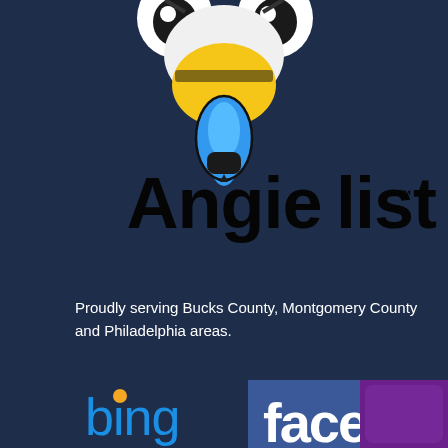[Figure (logo): Angie's List bee mascot logo (top portion, showing yellow and blue bee body with black text 'Angie's list' with a bee stinger as the apostrophe)]
Proudly serving Bucks County, Montgomery County and Philadelphia areas.
LEAVE A REVIEW!!
[Figure (logo): Bing search engine logo in blue and orange]
[Figure (logo): Facebook logo partially visible at bottom]
[Figure (logo): Yahoo logo partially visible at bottom right]